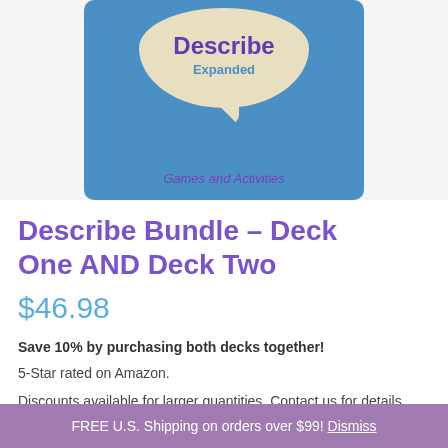[Figure (photo): Product image of a blue card game box with a speech bubble graphic reading 'Describe Expanded' and text 'Games and Activities']
Describe Bundle - Deck One AND Deck Two
$46.98
Save 10% by purchasing both decks together!
5-Star rated on Amazon.
Discounts available for larger quantities. Contact us for details.
Shipping
FREE U.S. Shipping on orders over $99! Dismiss